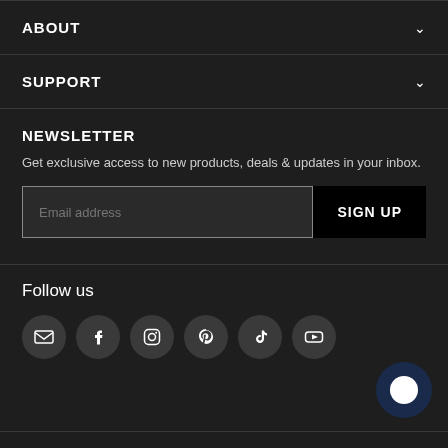ABOUT
SUPPORT
NEWSLETTER
Get exclusive access to new products, deals & updates in your inbox.
Email address
SIGN UP
Follow us
[Figure (infographic): Social media icons row: email, facebook, instagram, pinterest, tiktok, youtube]